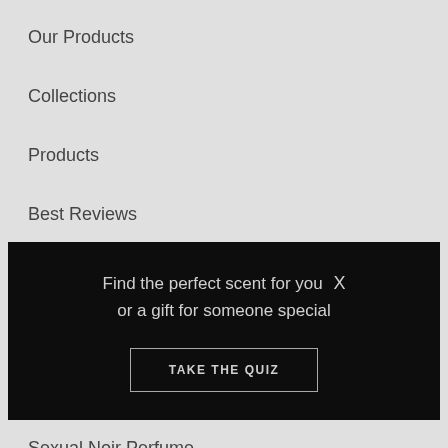Our Products
Collections
Products
Best Reviews
[Figure (infographic): Dark promotional banner with text 'Find the perfect scent for you or a gift for someone special' and a 'TAKE THE QUIZ' button, with an X close icon.]
Sexual Noir Perfume